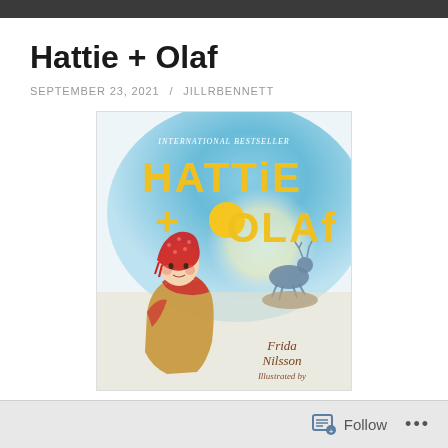Hattie + Olaf
SEPTEMBER 23, 2021 / JILLRBENNETT
[Figure (illustration): Book cover of 'Hattie + Olaf' — International Bestseller. Yellow lettering on a watercolor blue background. A girl wearing a red patterned headscarf and red scarf/coat stands in the foreground. A reindeer leaps on a rock in the background. Author: Frida Nilsson. Illustrated by (text cut off at bottom).]
Follow ...